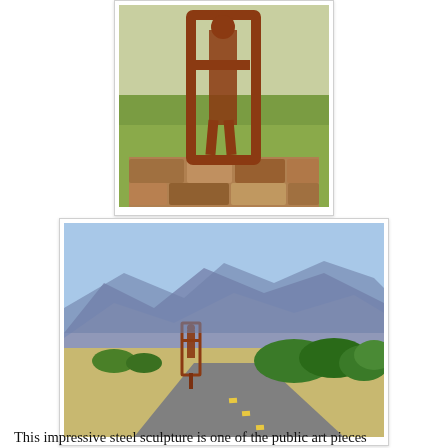[Figure (photo): Close-up photo of a rusty steel sculpture of a human figure in a rectangular frame, mounted on a stone base with green grass and shrubs in the background.]
[Figure (photo): Wide shot photo of the same rusty steel sculpture visible near a paved road, with mountains and blue sky in the background and green desert shrubs around.]
This impressive steel sculpture is one of the public art pieces